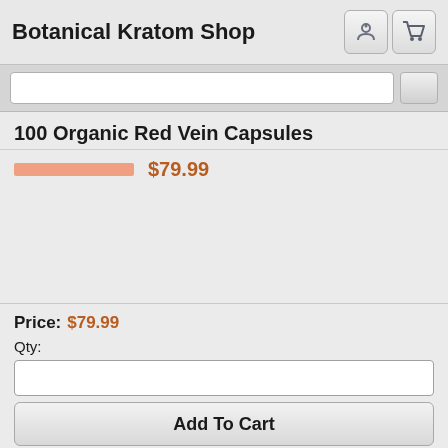Botanical Kratom Shop
100 Organic Red Vein Capsules
$79.99
Price: $79.99
Qty:
Add To Cart
Details